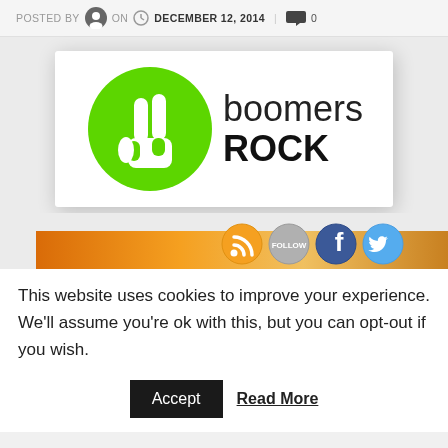POSTED BY  ON  DECEMBER 12, 2014  |  0
[Figure (logo): Boomers Rock logo: green circle with white peace/rock hand gesture, text 'boomers ROCK' in black sans-serif]
[Figure (infographic): Social media bar with orange gradient background and RSS, Follow, Facebook, Twitter icon buttons]
This website uses cookies to improve your experience. We'll assume you're ok with this, but you can opt-out if you wish.
Accept   Read More